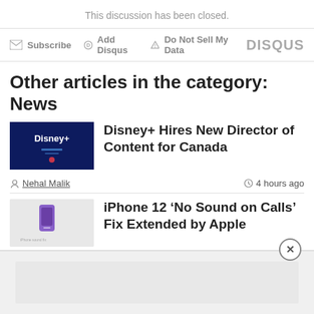This discussion has been closed.
Subscribe  Add Disqus  Do Not Sell My Data  DISQUS
Other articles in the category: News
[Figure (photo): Disney+ logo thumbnail]
Disney+ Hires New Director of Content for Canada
Nehal Malik   4 hours ago
[Figure (photo): iPhone 12 article thumbnail]
iPhone 12 ‘No Sound on Calls’ Fix Extended by Apple
Nehal Malik   8 hours ago
[Figure (photo): ArriveCAN app article thumbnail]
‘No Evidence’ ArriveCAN App Causing [report]
[Figure (screenshot): Advertisement overlay at bottom of page]